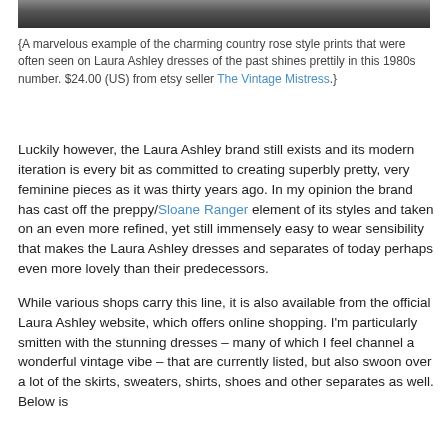[Figure (photo): Cropped bottom edge of a photograph showing a Laura Ashley dress with country rose style print]
{A marvelous example of the charming country rose style prints that were often seen on Laura Ashley dresses of the past shines prettily in this 1980s number. $24.00 (US) from etsy seller The Vintage Mistress.}
Luckily however, the Laura Ashley brand still exists and its modern iteration is every bit as committed to creating superbly pretty, very feminine pieces as it was thirty years ago. In my opinion the brand has cast off the preppy/Sloane Ranger element of its styles and taken on an even more refined, yet still immensely easy to wear sensibility that makes the Laura Ashley dresses and separates of today perhaps even more lovely than their predecessors.
While various shops carry this line, it is also available from the official Laura Ashley website, which offers online shopping. I'm particularly smitten with the stunning dresses – many of which I feel channel a wonderful vintage vibe – that are currently listed, but also swoon over a lot of the skirts, sweaters, shirts, shoes and other separates as well. Below is